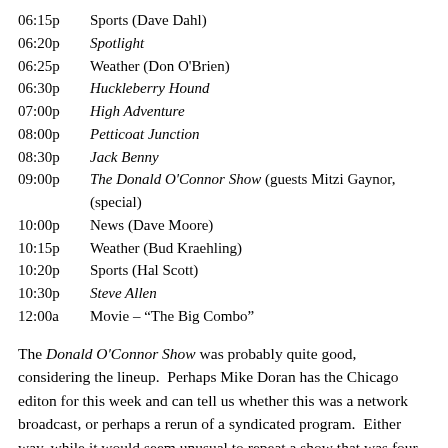06:15p  Sports (Dave Dahl)
06:20p  Spotlight
06:25p  Weather (Don O'Brien)
06:30p  Huckleberry Hound
07:00p  High Adventure
08:00p  Petticoat Junction
08:30p  Jack Benny
09:00p  The Donald O'Connor Show (guests Mitzi Gaynor, …) (special)
10:00p  News (Dave Moore)
10:15p  Weather (Bud Kraehling)
10:20p  Sports (Hal Scott)
10:30p  Steve Allen
12:00a  Movie – “The Big Combo”
The Donald O'Connor Show was probably quite good, considering the lineup.  Perhaps Mike Doran has the Chicago editon for this week and can tell us whether this was a network broadcast, or perhaps a rerun of a syndicated program.  Either way, while it would seem unusual to repeat a show that was four years old, I've seen it done before.  By the way ,in case any of you ever wonder what that 6:20pm